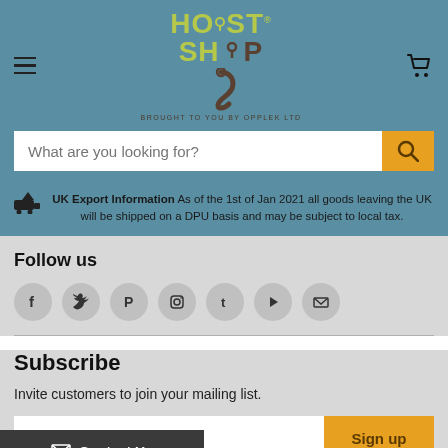[Figure (logo): Hoist Shop logo with hook graphic and 'BROUGHT TO YOU BY OPPLEK LTD' text on teal background]
What are you looking for?
UK Export Information As of the 1st of Jan 2021 all goods leaving the UK will be shipped on a DPU basis and may be subject to local tax.
Follow us
[Figure (infographic): Social media icons in circles: Facebook, Twitter, Pinterest, Instagram, Tumblr, YouTube, Email]
Subscribe
Invite customers to join your mailing list.
Sign up
Contact Us